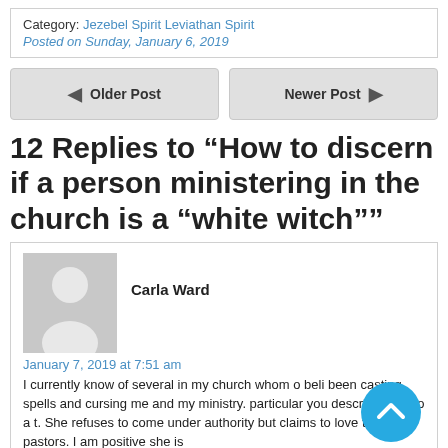Category: Jezebel Spirit Leviathan Spirit
Posted on Sunday, January 6, 2019
Older Post | Newer Post
12 Replies to “How to discern if a person ministering in the church is a “white witch””
Carla Ward
January 7, 2019 at 7:51 am
I currently know of several in my church whom o beli... been casting spells and cursing me and my ministry. ... particular you describe here to a t. She refuses to come under authority but claims to love the pastors. I am positive she is